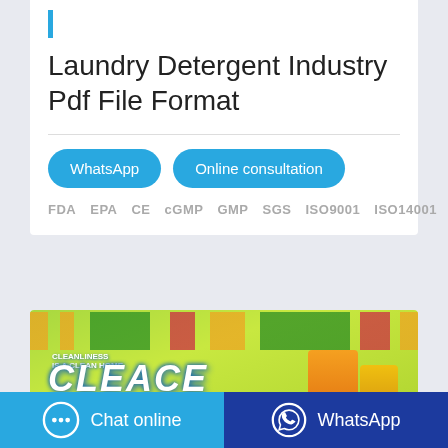Laundry Detergent Industry Pdf File Format
WhatsApp   Online consultation
FDA  EPA  CE  cGMP  GMP  SGS  ISO9001  ISO14001
[Figure (photo): Cleace brand banner with green background, fruits, and product packaging]
Chat online
WhatsApp